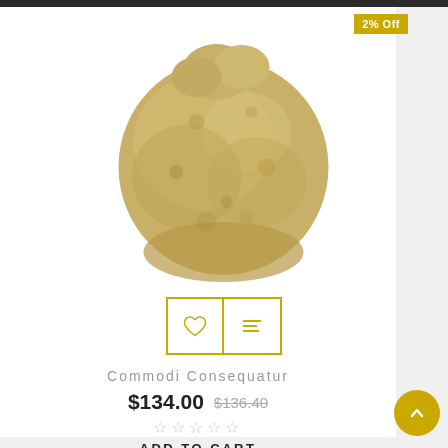[Figure (photo): A pile of tan/beige powder (resembling ground spice or herbal supplement) viewed from above on a white background. The powder forms a roughly circular mound.]
2% Off
Commodi Consequatur
$134.00  $136.40
☆☆☆☆☆
ADD TO CART